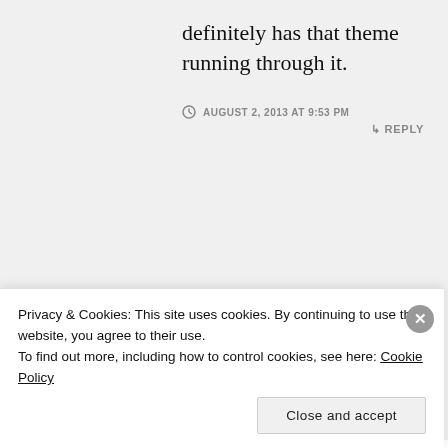definitely has that theme running through it.
AUGUST 2, 2013 AT 9:53 PM
↳ REPLY
[Figure (screenshot): Red background advertisement showing a smartphone with a podcast/audio app open, with a 'Download now' button in the top right corner.]
Privacy & Cookies: This site uses cookies. By continuing to use this website, you agree to their use. To find out more, including how to control cookies, see here: Cookie Policy
Close and accept